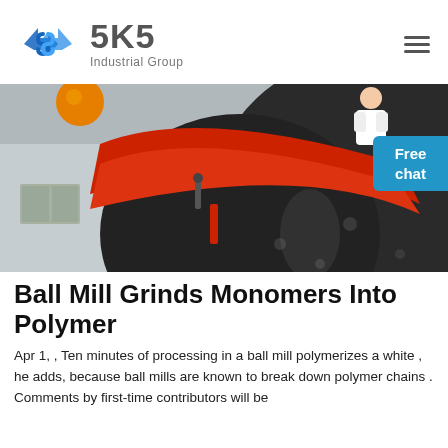[Figure (logo): SKS Industrial Group logo with blue diamond S icon and grey text]
[Figure (photo): Close-up photo of a large industrial ball mill with red and black components, showing the drum exterior with a diagonal red band/belt]
Ball Mill Grinds Monomers Into Polymer
Apr 1, , Ten minutes of processing in a ball mill polymerizes a white , he adds, because ball mills are known to break down polymer chains . Comments by first-time contributors will be